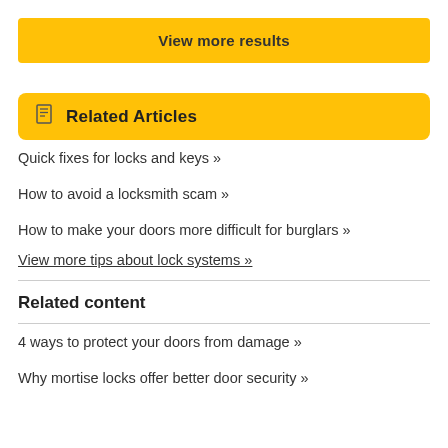View more results
Related Articles
Quick fixes for locks and keys »
How to avoid a locksmith scam »
How to make your doors more difficult for burglars »
View more tips about lock systems »
Related content
4 ways to protect your doors from damage »
Why mortise locks offer better door security »